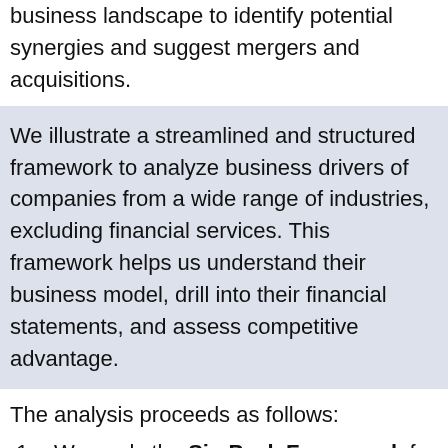business landscape to identify potential synergies and suggest mergers and acquisitions.
We illustrate a streamlined and structured framework to analyze business drivers of companies from a wide range of industries, excluding financial services. This framework helps us understand their business model, drill into their financial statements, and assess competitive advantage.
The analysis proceeds as follows:
We apply the Six-Pack Framework for top-down and comprehensive analysis of financial statements to extract six key valuation inputs – Size, Growth, Margins, Asset intensity, Business risk, and Financial risk.